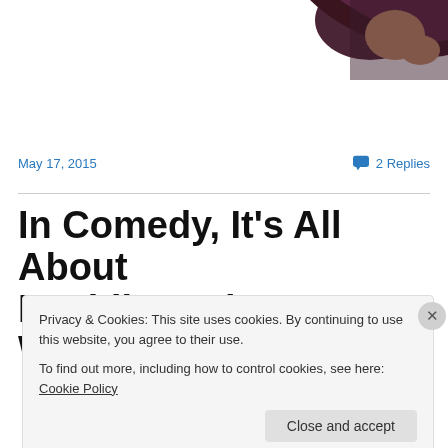[Figure (photo): Partial photo of a person in a dark patterned top, cropped at top of page, upper right area]
May 17, 2015
2 Replies
In Comedy, It's All About Deciding Who's Us & Who's
Privacy & Cookies: This site uses cookies. By continuing to use this website, you agree to their use.
To find out more, including how to control cookies, see here: Cookie Policy
Close and accept